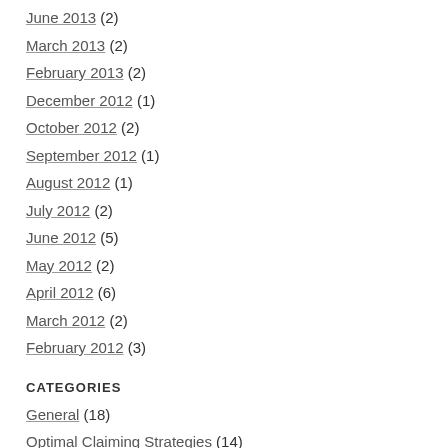June 2013 (2)
March 2013 (2)
February 2013 (2)
December 2012 (1)
October 2012 (2)
September 2012 (1)
August 2012 (1)
July 2012 (2)
June 2012 (5)
May 2012 (2)
April 2012 (6)
March 2012 (2)
February 2012 (3)
CATEGORIES
General (18)
Optimal Claiming Strategies (14)